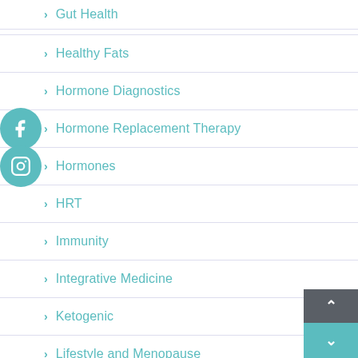Gut Health
Healthy Fats
Hormone Diagnostics
Hormone Replacement Therapy
Hormones
HRT
Immunity
Integrative Medicine
Ketogenic
Lifestyle and Menopause
Lifestyle Medicine